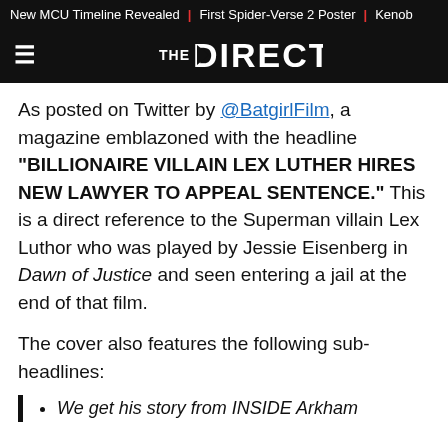New MCU Timeline Revealed | First Spider-Verse 2 Poster | Kenob
THE DIRECT
As posted on Twitter by @BatgirlFilm, a magazine emblazoned with the headline "BILLIONAIRE VILLAIN LEX LUTHER HIRES NEW LAWYER TO APPEAL SENTENCE." This is a direct reference to the Superman villain Lex Luthor who was played by Jessie Eisenberg in Dawn of Justice and seen entering a jail at the end of that film.
The cover also features the following sub-headlines:
We get his story from INSIDE Arkham